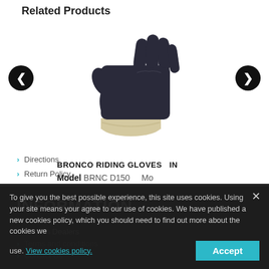Related Products
[Figure (photo): Black leather riding gloves product photo]
BRONCO RIDING GLOVES  IN
Model BRNC D150   Mo
INFORMATION
Vanson Dealers
Terms and conditions
Contact Us
Directions
Return Policy
To give you the best possible experience, this site uses cookies. Using your site means your agree to our use of cookies. We have published a new cookies policy, which you should need to find out more about the cookies we use. View cookies policy.